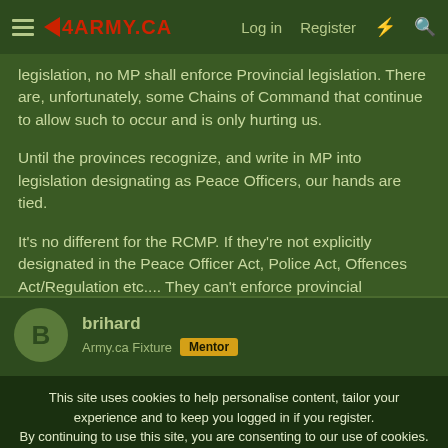ARMY.CA — Log in | Register
legislation, no MP shall enforce Provincial legislation. There are, unfortunately, some Chains of Command that continue to allow such to occur and is only hurting us.
Until the provinces recognize, and write in MP into legislation designating as Peace Officers, our hands are tied.
It's no different for the RCMP. If they're not explicitly designated in the Peace Officer Act, Police Act, Offences Act/Regulation etc.... They can't enforce provincial legislation either.
brihard — Army.ca Fixture — Mentor
This site uses cookies to help personalise content, tailor your experience and to keep you logged in if you register.
By continuing to use this site, you are consenting to our use of cookies.